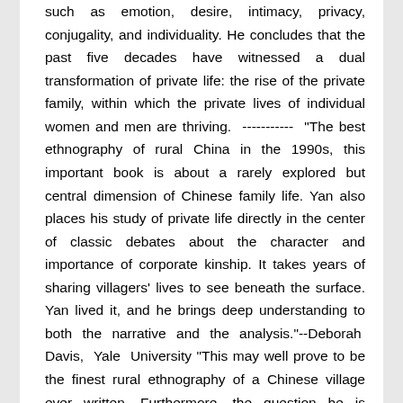such as emotion, desire, intimacy, privacy, conjugality, and individuality. He concludes that the past five decades have witnessed a dual transformation of private life: the rise of the private family, within which the private lives of individual women and men are thriving. ----------- "The best ethnography of rural China in the 1990s, this important book is about a rarely explored but central dimension of Chinese family life. Yan also places his study of private life directly in the center of classic debates about the character and importance of corporate kinship. It takes years of sharing villagers' lives to see beneath the surface. Yan lived it, and he brings deep understanding to both the narrative and the analysis."--Deborah Davis, Yale University "This may well prove to be the finest rural ethnography of a Chinese village ever written. Furthermore, the question he is asking...